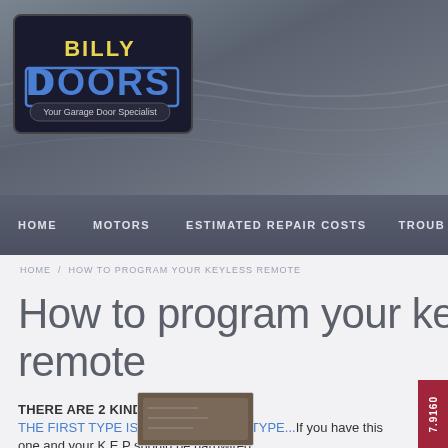[Figure (logo): Billy Doors logo - Your Garage Door Specialist]
HOME   MOTORS   ESTIMATED REPAIR COSTS   TROUB
HOME / HOW TO PROGRAM YOUR KEYLESS REMOTE
How to program your keyless remote
THERE ARE 2 KINDS OF MOTORS
THE FIRST TYPE IS THE DIP SWITCH TYPE...If you have this one and your K.E.P should be hardwired
[Figure (photo): Photo thumbnail of garage door motor wiring]
7.9160